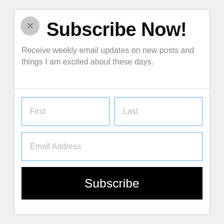Subscribe Now!
Receive weekly email updates on new posts and things I am excited about these days.
[Figure (screenshot): A subscription form with two side-by-side input fields labeled 'First' and 'Last', a full-width input field labeled 'Email Address', and a black 'Subscribe' button.]